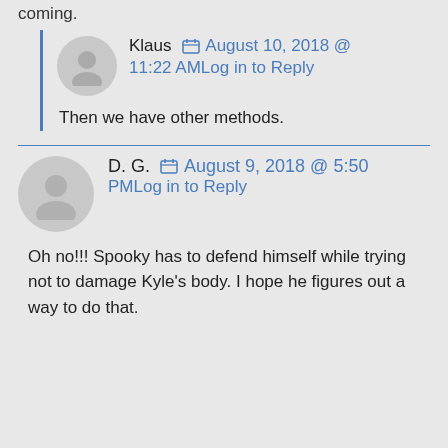coming.
Klaus  August 10, 2018 @ 11:22 AM Log in to Reply
Then we have other methods.
D. G.  August 9, 2018 @ 5:50 PM Log in to Reply
Oh no!!! Spooky has to defend himself while trying not to damage Kyle's body. I hope he figures out a way to do that.